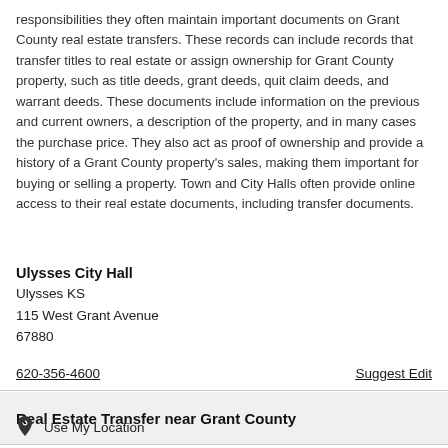responsibilities they often maintain important documents on Grant County real estate transfers. These records can include records that transfer titles to real estate or assign ownership for Grant County property, such as title deeds, grant deeds, quit claim deeds, and warrant deeds. These documents include information on the previous and current owners, a description of the property, and in many cases the purchase price. They also act as proof of ownership and provide a history of a Grant County property's sales, making them important for buying or selling a property. Town and City Halls often provide online access to their real estate documents, including transfer documents.
Ulysses City Hall
Ulysses KS
115 West Grant Avenue
67880
620-356-4600
Suggest Edit
Real Estate Transfer near Grant County
Use My Location